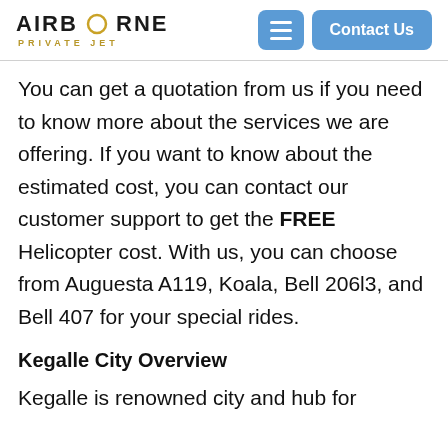[Figure (logo): Airborne Private Jet logo with golden ring on the letter O, and subtitle PRIVATE JET in gold]
You can get a quotation from us if you need to know more about the services we are offering. If you want to know about the estimated cost, you can contact our customer support to get the FREE Helicopter cost. With us, you can choose from Auguesta A119, Koala, Bell 206l3, and Bell 407 for your special rides.
Kegalle City Overview
Kegalle is renowned city and hub for